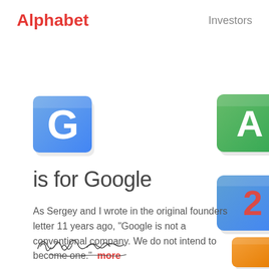Alphabet   Investors
[Figure (logo): Google 'G' logo tile — blue square with white G letter, 3D rendered]
[Figure (illustration): Partial view of green Alphabet tile (top right), partially cropped]
[Figure (illustration): Partial view of blue and orange/red Alphabet tile (middle right), partially cropped]
[Figure (illustration): Partial view of orange Alphabet tile (bottom right), partially cropped]
is for Google
As Sergey and I wrote in the original founders letter 11 years ago, “Google is not a conventional company. We do not intend to become one.”  more
[Figure (illustration): Handwritten signature of Larry Page]